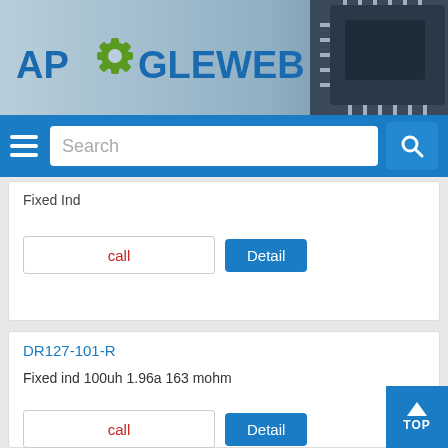[Figure (logo): APOGLEWEB logo with gear icon and microchip image in header]
Search
Fixed Ind
call
Detail
DR127-101-R
Fixed ind 100uh 1.96a 163 mohm
call
Detail